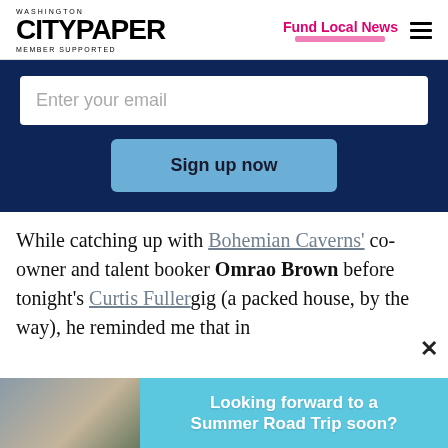WASHINGTON CITYPAPER MEMBER SUPPORTED | Fund Local News
[Figure (other): Email signup form with dark navy background, white email input field labeled 'Enter your email', and a light blue 'Sign up now' button]
While catching up with Bohemian Caverns' co-owner and talent booker Omrao Brown before tonight's Curtis Fuller gig (a packed house, by the way), he reminded me that in 2011, the U Street institution underwent a 25...
[Figure (infographic): Ad banner at bottom: photo of family on left, teal/cyan background with bold white text 'Looking forward to a Summer Road Trip soon?']